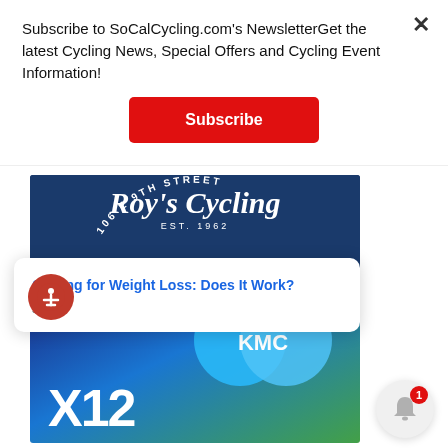Subscribe to SoCalCycling.com's NewsletterGet the latest Cycling News, Special Offers and Cycling Event Information!
[Figure (other): Red Subscribe button]
[Figure (logo): Roy's Cycling shop advertisement on dark blue background, EST. 1962, 106 E 9th Street]
[Figure (logo): KMC X12 chain advertisement with blue-green gradient background and KMC logo circles]
Cycling for Weight Loss: Does It Work?
s ago